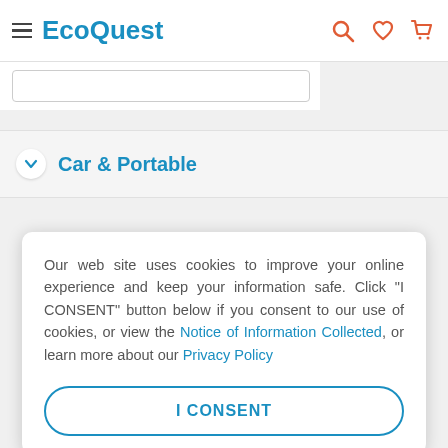EcoQuest
Car & Portable
Our web site uses cookies to improve your online experience and keep your information safe. Click "I CONSENT" button below if you consent to our use of cookies, or view the Notice of Information Collected, or learn more about our Privacy Policy
I CONSENT